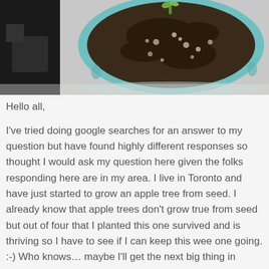[Figure (photo): Top-down view of a small seedling growing in a teal/blue pot with dark soil, photographed from above. The left side of the image shows a dark shadowed area.]
Hello all,
I've tried doing google searches for an answer to my question but have found highly different responses so thought I would ask my question here given the folks responding here are in my area. I live in Toronto and have just started to grow an apple tree from seed. I already know that apple trees don't grow true from seed but out of four that I planted this one survived and is thriving so I have to see if I can keep this wee one going. :-) Who knows… maybe I'll get the next big thing in apples. LOL
So my question is… how do I overwinter this seedling? Currently it's about 6.5cm (2.5") and I'm assuming by fall might be at least 15cm (1/2') or more if it keeps growing at